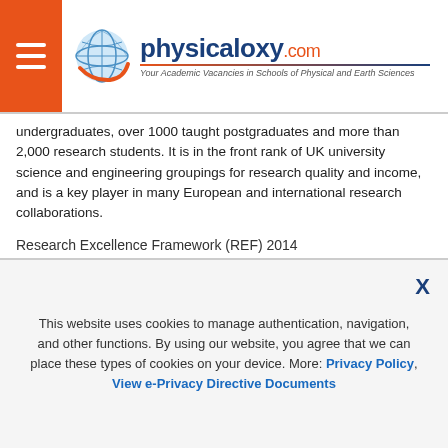physicaloxy.com — Your Academic Vacancies in Schools of Physical and Earth Sciences
undergraduates, over 1000 taught postgraduates and more than 2,000 research students. It is in the front rank of UK university science and engineering groupings for research quality and income, and is a key player in many European and international research collaborations.
Research Excellence Framework (REF) 2014
In the 2014 REF over 95% of our staff were submitted. Of our seven submissions, four of which were as a joint research school in combination with a strategic research university partner through pooling, 3 were ranked top in the UK and all 7 were in the top 5 in their discipline in the Times Higher Power rankings.
This website uses cookies to manage authentication, navigation, and other functions. By using our website, you agree that we can place these types of cookies on your device. More: Privacy Policy, View e-Privacy Directive Documents